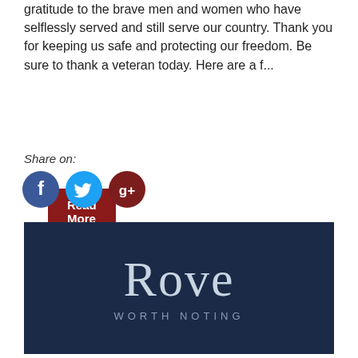gratitude to the brave men and women who have selflessly served and still serve our country. Thank you for keeping us safe and protecting our freedom. Be sure to thank a veteran today. Here are a f...
Read More
Share on:
[Figure (logo): Social media icons: Facebook (blue circle with f), Twitter (blue circle with bird), Google+ (dark red circle with g+)]
[Figure (logo): Rove Worth Noting logo on dark navy background. Large serif text 'Rove' with tagline 'WORTH NOTING' in spaced sans-serif below.]